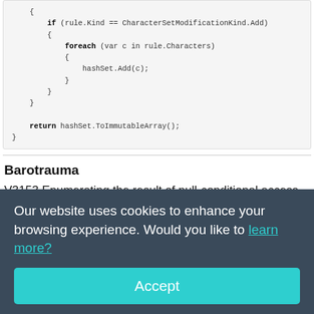{ if (rule.Kind == CharacterSetModificationKind.Add) { foreach (var c in rule.Characters) { hashSet.Add(c); } } } return hashSet.ToImmutableArray(); }
Barotrauma
V3153 Enumerating the result of null-conditional access operator can lead to NullReferenceException. Voting.cs 181
public void ClientRead(IReadMessage inc) { .... foreach (GUIComponent item in FrameMain.GetChildByEnumerz?.EnFirst?.Content?.Children)
Our website uses cookies to enhance your browsing experience. Would you like to learn more?
Accept